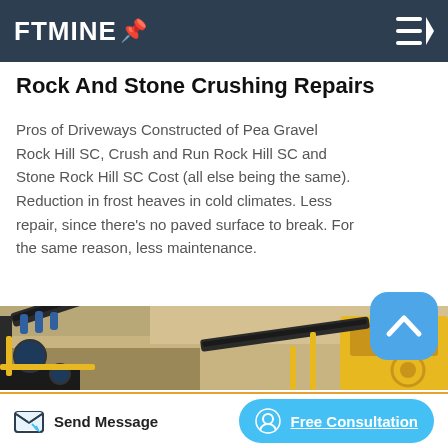FTMINE
Rock And Stone Crushing Repairs
Pros of Driveways Constructed of Pea Gravel Rock Hill SC, Crush and Run Rock Hill SC and Stone Rock Hill SC Cost (all else being the same). Reduction in frost heaves in cold climates. Less repair, since there's no paved surface to break. For the same reason, less maintenance.
[Figure (photo): Mining conveyor belt and crushing equipment with yellow machinery in a quarry/gravel site]
Send Message | Free Consultation